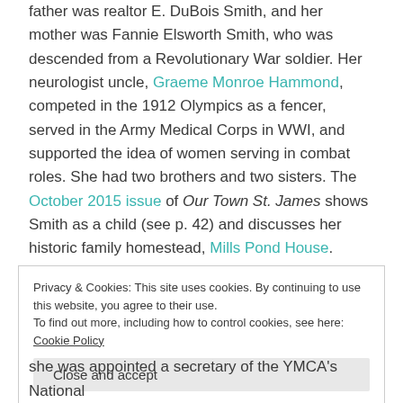father was realtor E. DuBois Smith, and her mother was Fannie Elsworth Smith, who was descended from a Revolutionary War soldier. Her neurologist uncle, Graeme Monroe Hammond, competed in the 1912 Olympics as a fencer, served in the Army Medical Corps in WWI, and supported the idea of women serving in combat roles. She had two brothers and two sisters. The October 2015 issue of Our Town St. James shows Smith as a child (see p. 42) and discusses her historic family homestead, Mills Pond House.
Privacy & Cookies: This site uses cookies. By continuing to use this website, you agree to their use. To find out more, including how to control cookies, see here: Cookie Policy
she was appointed a secretary of the YMCA's National